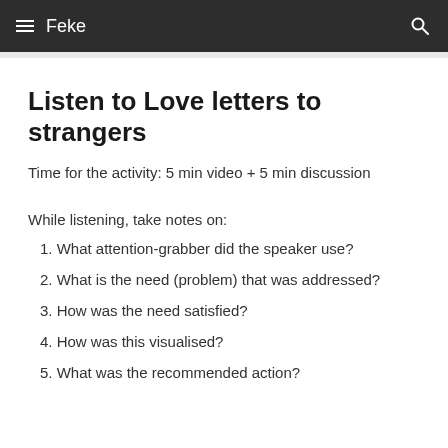Feke
Listen to Love letters to strangers
Time for the activity: 5 min video + 5 min discussion
While listening, take notes on:
1. What attention-grabber did the speaker use?
2. What is the need (problem) that was addressed?
3. How was the need satisfied?
4. How was this visualised?
5. What was the recommended action?